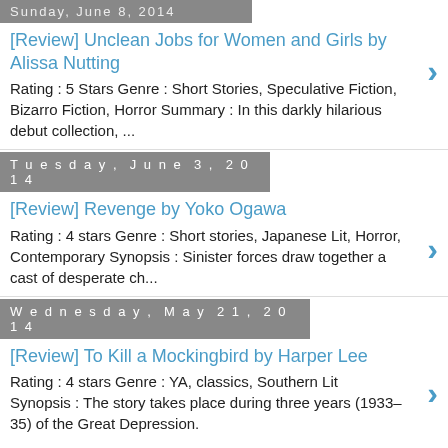Sunday, June 8, 2014
[Review] Unclean Jobs for Women and Girls by Alissa Nutting
Rating : 5 Stars Genre : Short Stories, Speculative Fiction, Bizarro Fiction, Horror Summary : In this darkly hilarious debut collection, ...
Tuesday, June 3, 2014
[Review] Revenge by Yoko Ogawa
Rating : 4 stars Genre : Short stories, Japanese Lit, Horror, Contemporary Synopsis : Sinister forces draw together a cast of desperate ch...
Wednesday, May 21, 2014
[Review] To Kill a Mockingbird by Harper Lee
Rating : 4 stars Genre : YA, classics, Southern Lit Synopsis : The story takes place during three years (1933–35) of the Great Depression.